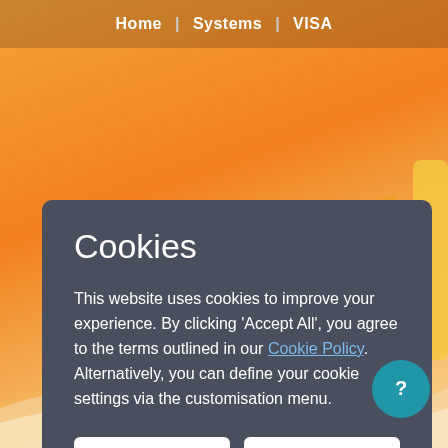Home | Systems | VISA
Cookies
This website uses cookies to improve your experience. By clicking 'Accept All', you agree to the terms outlined in our Cookie Policy. Alternatively, you can define your cookie settings via the customisation menu.
Customise   Accept All
Allside Safety app